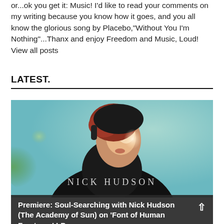or...ok you get it: Music! I'd like to read your comments on my writing because you know how it goes, and you all know the glorious song by Placebo,"Without You I'm Nothing"...Thanx and enjoy Freedom and Music, Loud!
View all posts
LATEST.
[Figure (photo): A person with red hair wearing a dark jacket, face tilted upward with dramatic lighting, text 'NICK HUDSON' overlaid at the bottom of the image.]
Premiere: Soul-Searching with Nick Hudson (The Academy of Sun) on 'Font of Human Fractures' LP